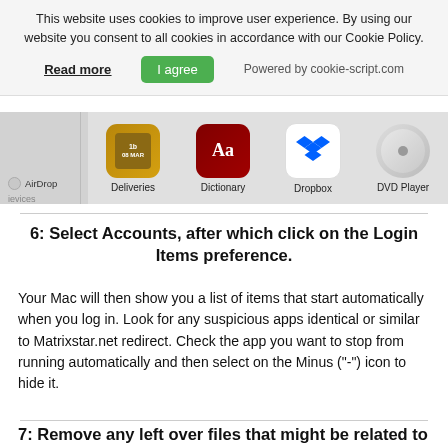This website uses cookies to improve user experience. By using our website you consent to all cookies in accordance with our Cookie Policy.
Read more | I agree | Powered by cookie-script.com
[Figure (screenshot): Partial macOS Finder window showing app icons: Deliveries, Dictionary, Dropbox, DVD Player, with a left sidebar showing AirDrop and Devices section]
6: Select Accounts, after which click on the Login Items preference.
Your Mac will then show you a list of items that start automatically when you log in. Look for any suspicious apps identical or similar to Matrixstar.net redirect. Check the app you want to stop from running automatically and then select on the Minus ("-") icon to hide it.
7: Remove any left over files that might be related to